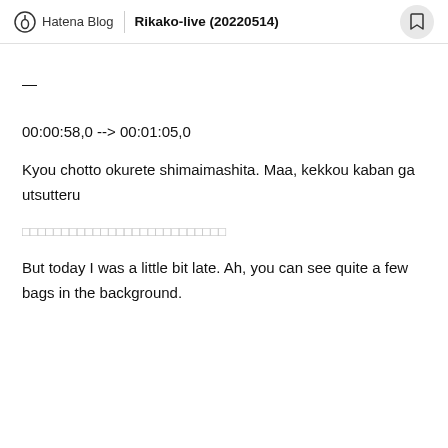Hatena Blog | Rikako-live (20220514)
—
00:00:58,0 --> 00:01:05,0
Kyou chotto okurete shimaimashita. Maa, kekkou kaban ga utsutteru
□□□□□□□□□□□□□□□□□□□□□□□□□□
But today I was a little bit late. Ah, you can see quite a few bags in the background.